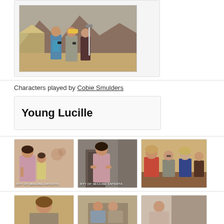[Figure (photo): Three people standing outdoors in a desert/rocky landscape; one person wearing a yellow hard hat, one in a blue dress, one in dark clothing]
Characters played by Cobie Smulders
Young Lucille
[Figure (photo): Woman in pink/mauve dress standing with a child in yellow clothes; RTY OF IMAGINE ENTERTA watermark]
[Figure (photo): Woman in pink wrap dress standing alone; RTY OF IMAGINE ENTERTA watermark]
[Figure (photo): Group of people at what appears to be a party or gathering; woman in red/coral shirt visible]
[Figure (photo): Bottom row left image - partial view of woman]
[Figure (photo): Bottom row center image - partial view of people]
[Figure (photo): Bottom row right image - partial view]